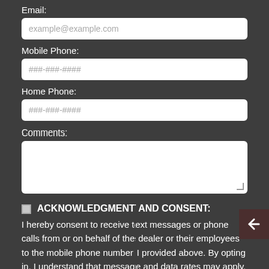Email:
example@example.com
Mobile Phone:
###-###-####
Home Phone:
###-###-####
Comments:
ACKNOWLEDGMENT AND CONSENT: I hereby consent to receive text messages or phone calls from or on behalf of the dealer or their employees to the mobile phone number I provided above. By opting in, I understand that message and data rates may apply. This acknowledgement